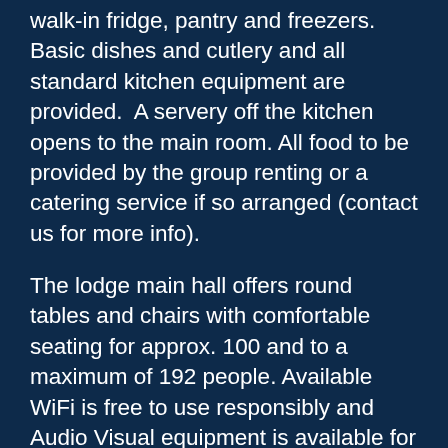walk-in fridge, pantry and freezers.  Basic dishes and cutlery and all standard kitchen equipment are provided.  A servery off the kitchen opens to the main room. All food to be provided by the group renting or a catering service if so arranged (contact us for more info).
The lodge main hall offers round tables and chairs with comfortable seating for approx. 100 and to a maximum of 192 people. Available WiFi is free to use responsibly and Audio Visual equipment is available for and extra charge. A large fireplace surrounded by a few couches forms a cozy corner. Washrooms including an accessible washroom and a small bedroom are also available on this level.
The lower level has four bedrooms, each of which sleeps three, as well as large washrooms with showers. A good-sized games room on the lower